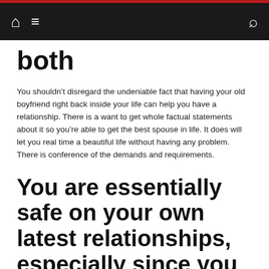Navigation bar with home, menu, and search icons
both
You shouldn’t disregard the undeniable fact that having your old boyfriend right back inside your life can help you have a relationship. There is a want to get whole factual statements about it so you’re able to get the best spouse in life. It does will let you real time a beautiful life without having any problem. There is conference of the demands and requirements.
You are essentially safe on your own latest relationships, especially since you as well as your companion was basically along with her having